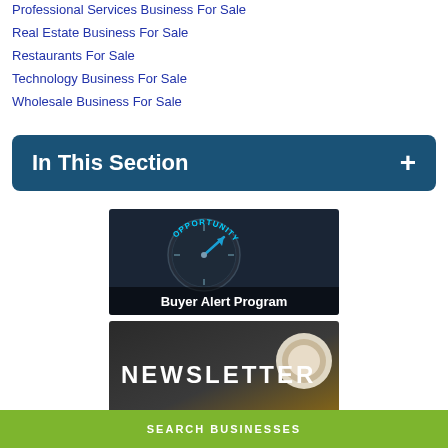Professional Services Business For Sale
Real Estate Business For Sale
Restaurants For Sale
Technology Business For Sale
Wholesale Business For Sale
In This Section
[Figure (photo): Clock compass showing OPPORTUNITY with arrow, captioned Buyer Alert Program]
[Figure (photo): Newsletter banner with coffee cup]
SEARCH BUSINESSES